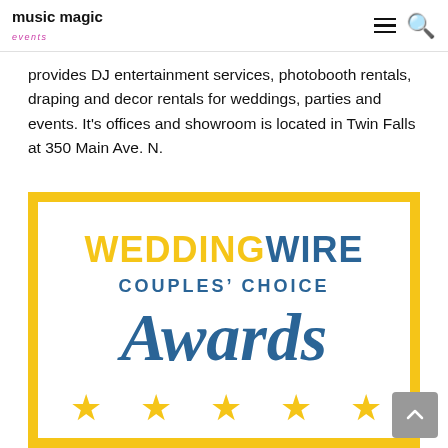music magic events
provides DJ entertainment services, photobooth rentals, draping and decor rentals for weddings, parties and events. It's offices and showroom is located in Twin Falls at 350 Main Ave. N.
[Figure (logo): WeddingWire Couples' Choice Awards badge with gold border, text reading WEDDINGWIRE in gold and blue, COUPLES' CHOICE in blue uppercase, Awards in large blue italic serif font, and five gold stars at the bottom.]